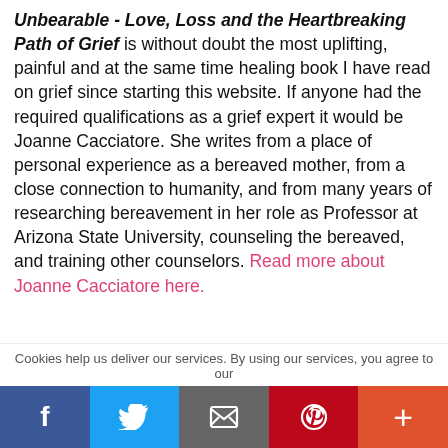Unbearable - Love, Loss and the Heartbreaking Path of Grief is without doubt the most uplifting, painful and at the same time healing book I have read on grief since starting this website. If anyone had the required qualifications as a grief expert it would be Joanne Cacciatore. She writes from a place of personal experience as a bereaved mother, from a close connection to humanity, and from many years of researching bereavement in her role as Professor at Arizona State University, counseling the bereaved, and training other counselors. Read more about Joanne Cacciatore here.
[Figure (other): Black banner image with white italic text: 'Simply the best book I have ever read on the process of grief. Simultaneously heart wrenching and uplifting.' - Ira Israel, The Huffington Post]
Cookies help us deliver our services. By using our services, you agree to our
[Figure (infographic): Social sharing bar with buttons: Facebook (blue), Twitter (light blue), Email (dark gray), Pinterest (red), Plus/More (orange-red)]